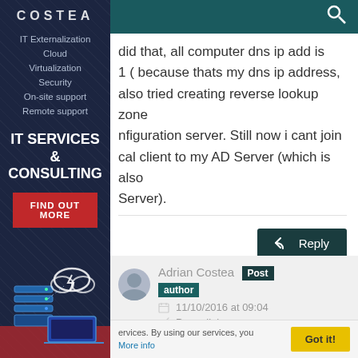[Figure (illustration): COSTEA IT services sidebar with logo, navigation links, IT Services & Consulting label, Find Out More button, and server/cloud illustration]
did that, all computer dns ip add is 1 ( because thats my dns ip address, also tried creating reverse lookup zone nfiguration server. Still now i cant join cal client to my AD Server (which is also Server).
Reply
Adrian Costea Post author 11/10/2016 at 09:04 Permalink
services. By using our services, you More info Got it!